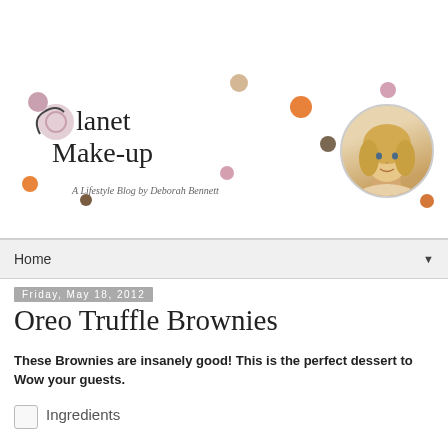[Figure (logo): Planet Make-up blog logo with colorful dots and subtitle 'A Lifestyle Blog by Deborah Bennett', with a circular profile photo of a blonde woman]
Home
Friday, May 18, 2012
Oreo Truffle Brownies
These Brownies are insanely good! This is the perfect dessert to Wow your guests.
Ingredients